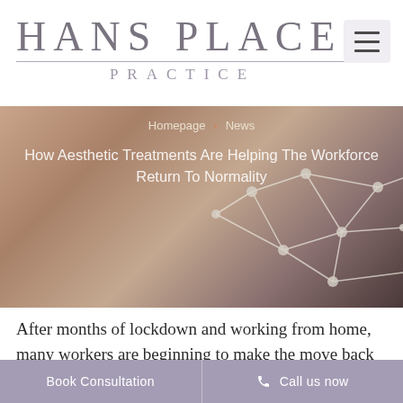HANS PLACE PRACTICE
[Figure (photo): Close-up photo of a person's neck/décolletage area with a geometric network overlay graphic (connected nodes and lines) superimposed on the image. Breadcrumb navigation and article title overlaid on the image.]
Homepage › News – How Aesthetic Treatments Are Helping The Workforce Return To Normality
After months of lockdown and working from home, many workers are beginning to make the move back into the
Book Consultation    📞 Call us now